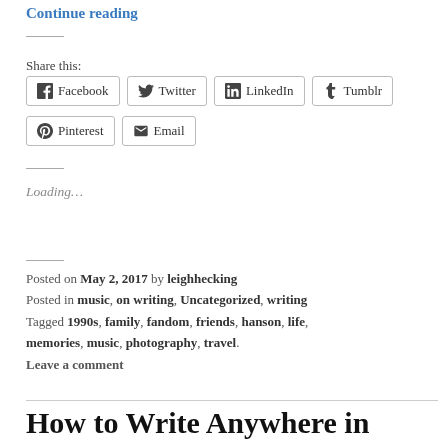Continue reading
Share this:
Facebook  Twitter  LinkedIn  Tumblr  Pinterest  Email
Loading…
Posted on May 2, 2017 by leighhecking
Posted in music, on writing, Uncategorized, writing
Tagged 1990s, family, fandom, friends, hanson, life, memories, music, photography, travel.
Leave a comment
How to Write Anywhere in